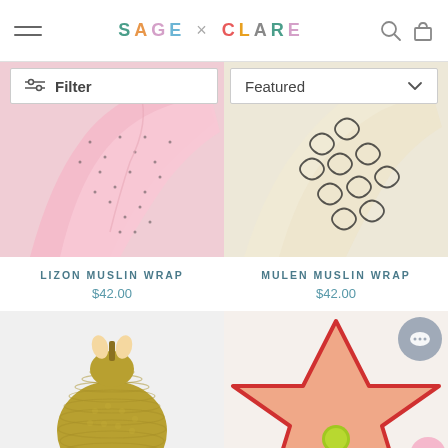SAGE × CLARE
Filter
Featured
[Figure (photo): Pink muslin wrap fabric with small dark dot pattern, draped loosely]
LIZON MUSLIN WRAP
$42.00
[Figure (photo): Cream/beige muslin wrap with black loopy line pattern, draped loosely]
MULEN MUSLIN WRAP
$42.00
[Figure (photo): Olive/mustard crochet knit pear-shaped toy with small ear nubs on top]
[Figure (photo): Peach/salmon star-shaped pillow with red piping and yellow-green pom-pom, with chat support button overlay]